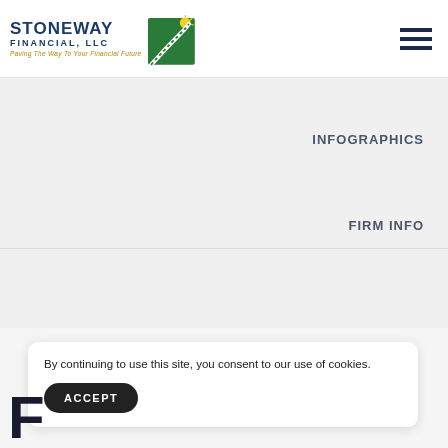[Figure (logo): Stoneway Financial LLC logo with green road/path illustration and tagline 'Paving The Way To Your Financial Future']
INFOGRAPHICS
FIRM INFO
By continuing to use this site, you consent to our use of cookies.
ACCEPT
F